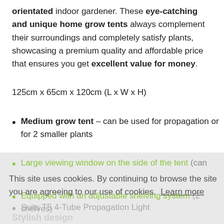orientated indoor gardener. These eye-catching and unique home grow tents always complement their surroundings and completely satisfy plants, showcasing a premium quality and affordable price that ensures you get excellent value for money.
125cm x 65cm x 120cm (L x W x H)
Medium grow tent – can be used for propagation or for 2 smaller plants
Large viewing window on the side of the tent (can
This site uses cookies. By continuing to browse the site you are agreeing to our use of cookies. Learn more
Equipped with an adjustable shelving system (2 shelves)
Suits T5 4-Tube Propagation Light
Includes 2-year manufacturer's warranty
Stylish design